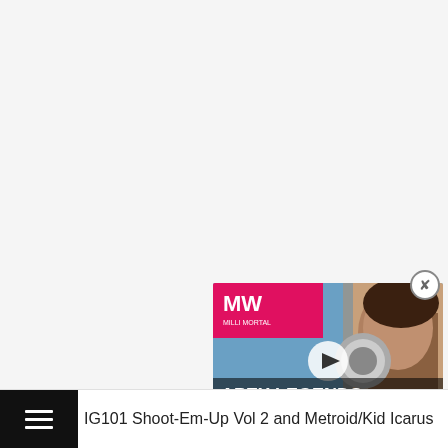[Figure (screenshot): Apex Legends Hunted Update video thumbnail with MW (Millenial World) logo, play button, and game character. Displayed as a floating overlay video player with close button.]
IG101 Shoot-Em-Up Vol 2 and Metroid/Kid Icarus